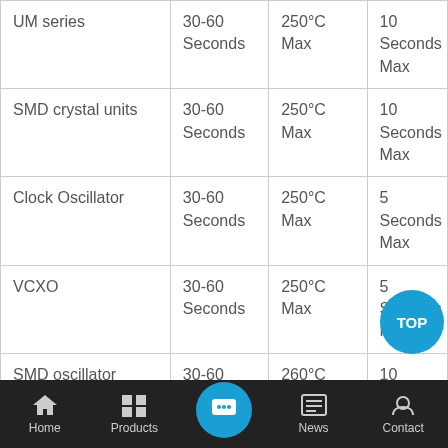| Product | Preheat Time | Peak Temperature | Time Above |
| --- | --- | --- | --- |
| UM series | 30-60 Seconds | 250°C Max | 10 Seconds Max |
| SMD crystal units | 30-60 Seconds | 250°C Max | 10 Seconds Max |
| Clock Oscillator | 30-60 Seconds | 250°C Max | 5 Seconds Max |
| VCXO | 30-60 Seconds | 250°C Max | 5 Seconds Max |
| SMD oscillator | 30-60 Seconds | 260°C Max | 10 Seconds Max |
Home | Products | Chat | News | Contact